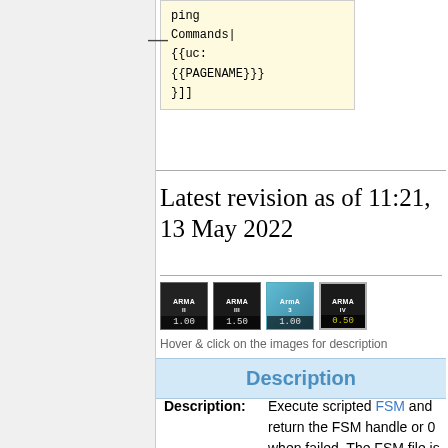[Figure (screenshot): Code box showing wiki template syntax: Commands| {{uc: {{PAGENAME}}} }}]
Latest revision as of 11:21, 13 May 2022
[Figure (illustration): Four version icons: Arma 1 (1.00), Arma 2 (1.50), Arma 3 (1.00), Arma 4 (0.50) - game version badges]
Hover & click on the images for description
Description
| Field | Value |
| --- | --- |
| Description: | Execute scripted FSM and return the FSM handle or 0 when failed. The FSM file is first searched in the mission folder, then |